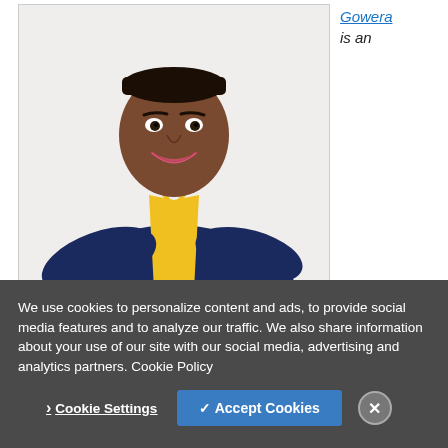[Figure (photo): Professional headshot of a woman with short hair, wearing a navy blue blazer over a yellow top, smiling, against a white background. Image is inside a light-bordered box.]
Gowera is an
We use cookies to personalize content and ads, to provide social media features and to analyze our traffic. We also share information about your use of our site with our social media, advertising and analytics partners. Cookie Policy
Cookie Settings
✓ Accept Cookies